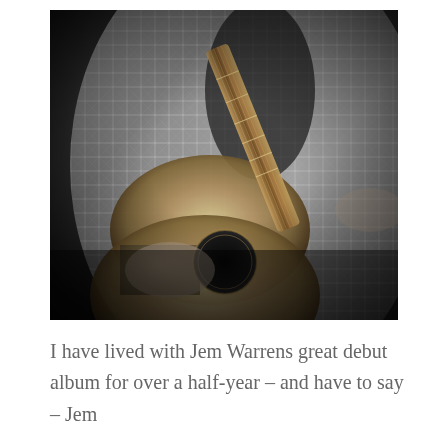[Figure (photo): Black and white photograph of a man playing an acoustic guitar, wearing a plaid shirt, shot from roughly chest level, no face visible]
I have lived with Jem Warrens great debut album for over a half-year – and have to say – Jem